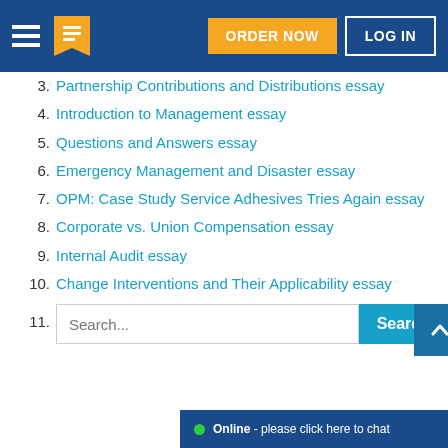ORDER NOW | LOG IN
3. Partnership Contributions and Distributions essay
4. Introduction to Management essay
5. Questions and Answers essay
6. Emergency Management and Disaster essay
7. OPM: Case Study Service Adhesives Tries Again essay
8. Corporate vs. Union Compensation essay
9. Internal Audit essay
10. Change Interventions and Their Applicability essay
11. Search...
Online - please click here to chat